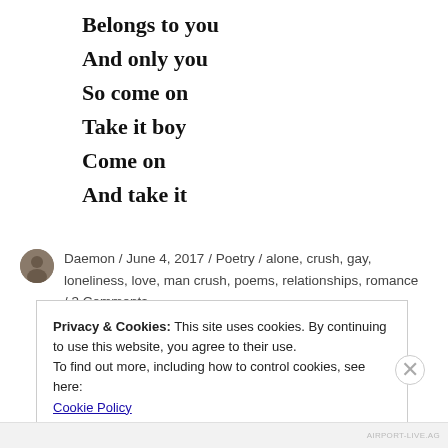Belongs to you
And only you
So come on
Take it boy
Come on
And take it
Daemon / June 4, 2017 / Poetry / alone, crush, gay, loneliness, love, man crush, poems, relationships, romance / 3 Comments
Privacy & Cookies: This site uses cookies. By continuing to use this website, you agree to their use.
To find out more, including how to control cookies, see here:
Cookie Policy
Close and accept